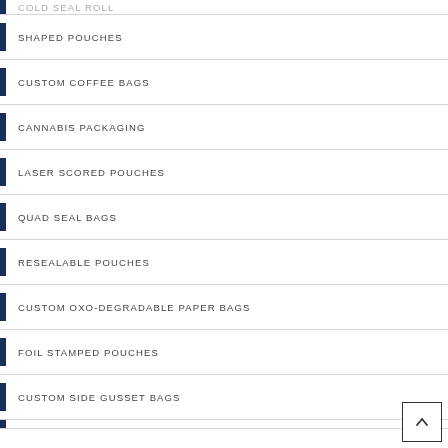COLD SEAL ROLL
SHAPED POUCHES
CUSTOM COFFEE BAGS
CANNABIS PACKAGING
LASER SCORED POUCHES
QUAD SEAL BAGS
RESEALABLE POUCHES
CUSTOM OXO-DEGRADABLE PAPER BAGS
FOIL STAMPED POUCHES
CUSTOM SIDE GUSSET BAGS